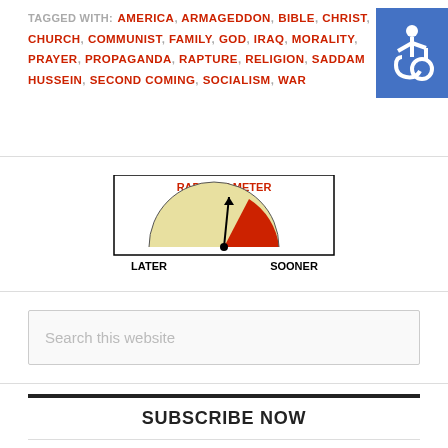TAGGED WITH: AMERICA, ARMAGEDDON, BIBLE, CHRIST, CHURCH, COMMUNIST, FAMILY, GOD, IRAQ, MORALITY, PRAYER, PROPAGANDA, RAPTURE, RELIGION, SADDAM HUSSEIN, SECOND COMING, SOCIALISM, WAR
[Figure (other): Rapture Meter gauge diagram showing a semicircular gauge with LATER on left and SOONER on right, needle pointing slightly right of center, red segment on right side. Title: RAPTURE METER]
Search this website
SUBSCRIBE NOW
Rapture Alerts Newsletter